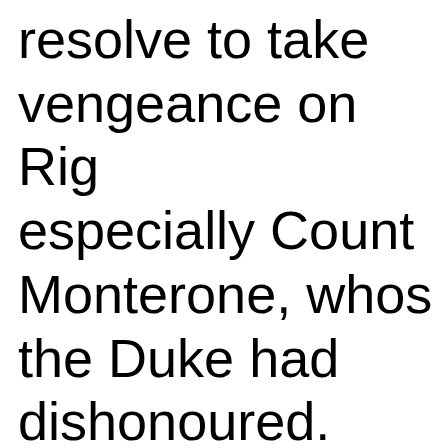resolve to take vengeance on Rig especially Count Monterone, whos the Duke had dishonoured. Monte the Duke and Rigoletto.
Scene 2
A street; half of the stage, divided occupied by the courtyard of Rigo house. Thinking of the curse, the j approaches and is accosted by th Sparafucile, who offers his service